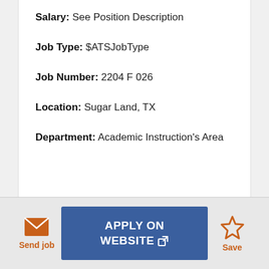Salary: See Position Description
Job Type: $ATSJobType
Job Number: 2204 F 026
Location: Sugar Land, TX
Department: Academic Instruction's Area